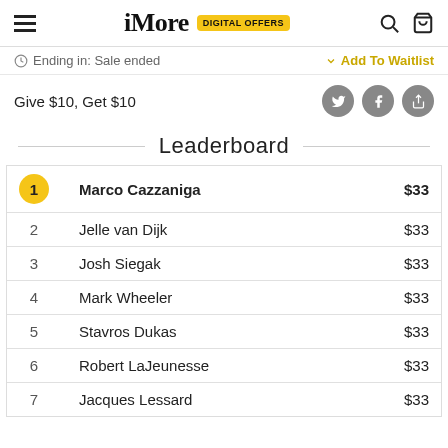iMore DIGITAL OFFERS
Ending in: Sale ended
Add To Waitlist
Give $10, Get $10
Leaderboard
| Rank | Name | Amount |
| --- | --- | --- |
| 1 | Marco Cazzaniga | $33 |
| 2 | Jelle van Dijk | $33 |
| 3 | Josh Siegak | $33 |
| 4 | Mark Wheeler | $33 |
| 5 | Stavros Dukas | $33 |
| 6 | Robert LaJeunesse | $33 |
| 7 | Jacques Lessard | $33 |